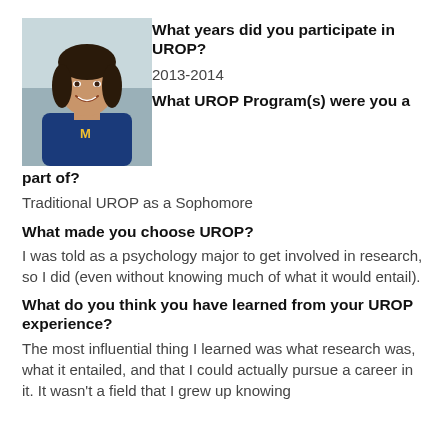[Figure (photo): Headshot photo of a young woman smiling, wearing a blue shirt, with a building in the background]
What years did you participate in UROP?
2013-2014
What UROP Program(s) were you a part of?
Traditional UROP as a Sophomore
What made you choose UROP?
I was told as a psychology major to get involved in research, so I did (even without knowing much of what it would entail).
What do you think you have learned from your UROP experience?
The most influential thing I learned was what research was, what it entailed, and that I could actually pursue a career in it. It wasn't a field that I grew up knowing